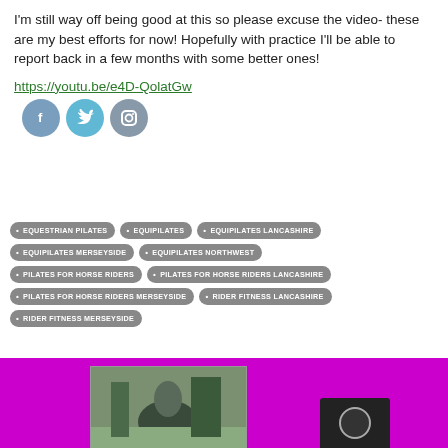I'm still way off being good at this so please excuse the video- these are my best efforts for now! Hopefully with practice I'll be able to report back in a few months with some better ones!
https://youtu.be/e4D-QolatGw
[Figure (illustration): Three social media icons: Facebook (blue circle with f), Twitter (light blue circle with bird), Instagram (grey circle with camera)]
EQUESTRIAN PILATES
EQUIPILATES
EQUIPILATES LANCASHIRE
EQUIPILATES MERSEYSIDE
EQUIPILATES NORTHWEST
PILATES FOR HORSE RIDERS
PILATES FOR HORSE RIDERS LANCASHIRE
PILATES FOR HORSE RIDERS MERSEYSIDE
RIDER FITNESS LANCASHIRE
RIDER FITNESS MERSEYSIDE
[Figure (photo): Pink/magenta background section at the bottom with a photo of a person riding a horse outdoors, and a dark box with a circular logo on the right]